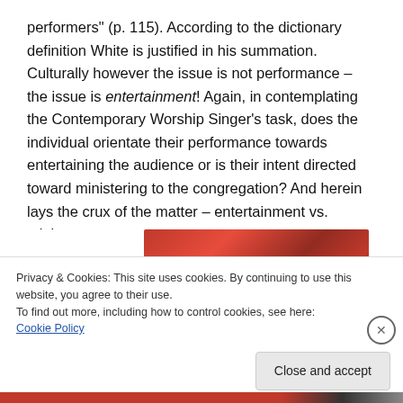performers" (p. 115). According to the dictionary definition White is justified in his summation. Culturally however the issue is not performance – the issue is entertainment! Again, in contemplating the Contemporary Worship Singer's task, does the individual orientate their performance towards entertaining the audience or is their intent directed toward ministering to the congregation? And herein lays the crux of the matter – entertainment vs. ministry.
[Figure (photo): Partial image of a red device or object, cropped at bottom of visible area]
Privacy & Cookies: This site uses cookies. By continuing to use this website, you agree to their use.
To find out more, including how to control cookies, see here: Cookie Policy
Close and accept